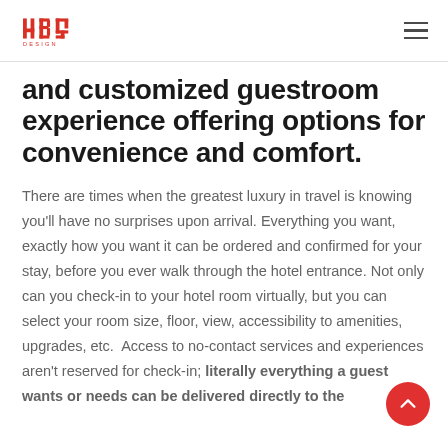hbg design — navigation
and customized guestroom experience offering options for convenience and comfort.
There are times when the greatest luxury in travel is knowing you'll have no surprises upon arrival. Everything you want, exactly how you want it can be ordered and confirmed for your stay, before you ever walk through the hotel entrance. Not only can you check-in to your hotel room virtually, but you can select your room size, floor, view, accessibility to amenities, upgrades, etc.  Access to no-contact services and experiences aren't reserved for check-in; literally everything a guest wants or needs can be delivered directly to the